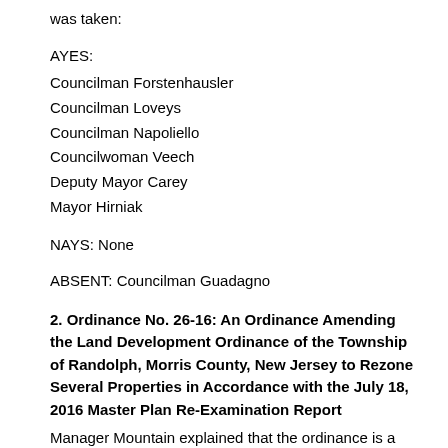was taken:
AYES:
Councilman Forstenhausler
Councilman Loveys
Councilman Napoliello
Councilwoman Veech
Deputy Mayor Carey
Mayor Hirniak
NAYS: None
ABSENT: Councilman Guadagno
2. Ordinance No. 26-16: An Ordinance Amending the Land Development Ordinance of the Township of Randolph, Morris County, New Jersey to Rezone Several Properties in Accordance with the July 18, 2016 Master Plan Re-Examination Report
Manager Mountain explained that the ordinance is a land